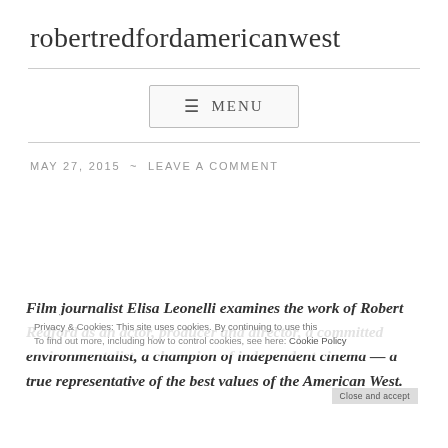robertredfordamericanwest
≡ MENU
MAY 27, 2015 ~ LEAVE A COMMENT
Film journalist Elisa Leonelli examines the work of Robert Redford as an actor, producer and director, a committed environmentalist, a champion of independent cinema — a true representative of the best values of the American West.
Privacy & Cookies: This site uses cookies. By continuing to use this
To find out more, including how to control cookies, see here: Cookie Policy